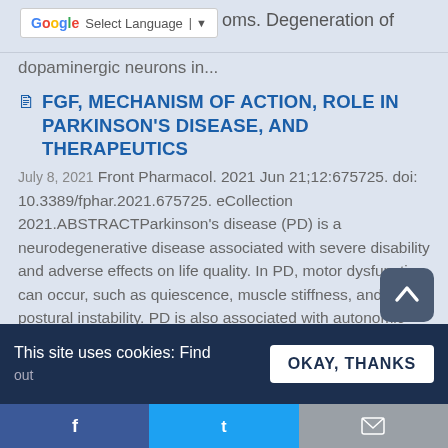Select Language | ▼   oms. Degeneration of dopaminergic neurons in...
oms. Degeneration of dopaminergic neurons in...
FGF, MECHANISM OF ACTION, ROLE IN PARKINSON'S DISEASE, AND THERAPEUTICS
July 8, 2021 Front Pharmacol. 2021 Jun 21;12:675725. doi: 10.3389/fphar.2021.675725. eCollection 2021.ABSTRACTParkinson's disease (PD) is a neurodegenerative disease associated with severe disability and adverse effects on life quality. In PD, motor dysfunction can occur, such as quiescence, muscle stiffness, and postural instability. PD is also associated with autonomic nervous dysfunction, sleep
This site uses cookies: Find  OKAY, THANKS  f  t  mail